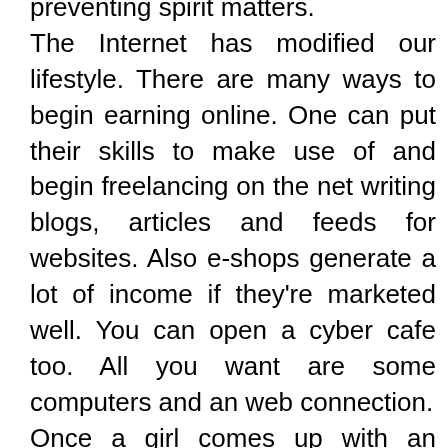preventing spirit matters. The Internet has modified our lifestyle. There are many ways to begin earning online. One can put their skills to make use of and begin freelancing on the net writing blogs, articles and feeds for websites. Also e-shops generate a lot of income if they're marketed well. You can open a cyber cafe too. All you want are some computers and an web connection. Once a girl comes up with an thought, creates her marketing strategy, and begins to place it into motion, she will likely be properly on her way to making a new life for herself. Her subsequent name of action will likely be to get funding. Above are some examples of funding sources for girls entrepreneurs. There are several more like these to be discovered. All of the analysis and varieties to be stuffed out shall be price it in the long run when she is working her personal business. Fewer companies owned by girls top $1 million in revenues, though, largely as a result of women are usually cautious about increasing their corporations too shortly. They're extra averse than men to being overextended, usually taking a